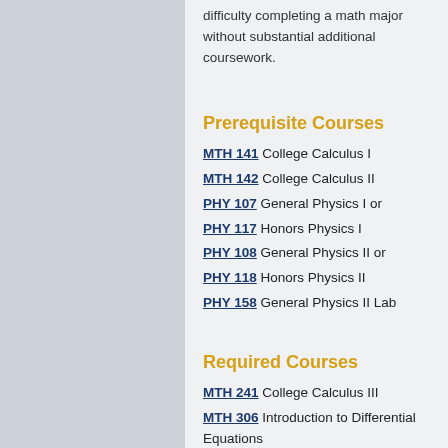difficulty completing a math major without substantial additional coursework.
Prerequisite Courses
MTH 141 College Calculus I
MTH 142 College Calculus II
PHY 107 General Physics I or
PHY 117 Honors Physics I
PHY 108 General Physics II or
PHY 118 Honors Physics II
PHY 158 General Physics II Lab
Required Courses
MTH 241 College Calculus III
MTH 306 Introduction to Differential Equations
MTH 309 Introductory Linear